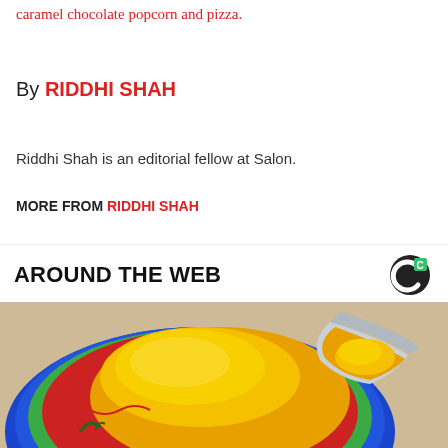caramel chocolate popcorn and pizza.
By RIDDHI SHAH
Riddhi Shah is an editorial fellow at Salon.
MORE FROM RIDDHI SHAH
AROUND THE WEB
[Figure (photo): A colorful decorative bowl filled with bright yellow turmeric powder, with a spoon scooping the powder, photographed close-up.]